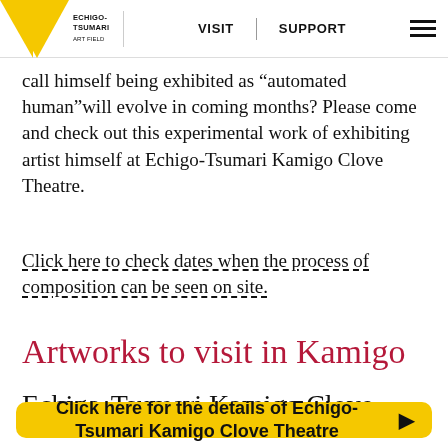ECHIGO-TSUMARI ART FIELD | VISIT | SUPPORT
call himself being exhibited as “automated human”will evolve in coming months? Please come and check out this experimental work of exhibiting artist himself at Echigo-Tsumari Kamigo Clove Theatre.
Click here to check dates when the process of composition can be seen on site.
Artworks to visit in Kamigo
Echigo-Tsumari Kamigo Clove
Click here for the details of Echigo-Tsumari Kamigo Clove Theatre